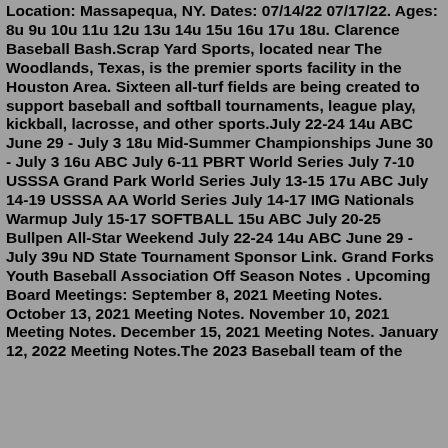Location: Massapequa, NY. Dates: 07/14/22 07/17/22. Ages: 8u 9u 10u 11u 12u 13u 14u 15u 16u 17u 18u. Clarence Baseball Bash.Scrap Yard Sports, located near The Woodlands, Texas, is the premier sports facility in the Houston Area. Sixteen all-turf fields are being created to support baseball and softball tournaments, league play, kickball, lacrosse, and other sports.July 22-24 14u ABC June 29 - July 3 18u Mid-Summer Championships June 30 - July 3 16u ABC July 6-11 PBRT World Series July 7-10 USSSA Grand Park World Series July 13-15 17u ABC July 14-19 USSSA AA World Series July 14-17 IMG Nationals Warmup July 15-17 SOFTBALL 15u ABC July 20-25 Bullpen All-Star Weekend July 22-24 14u ABC June 29 - July 39u ND State Tournament Sponsor Link. Grand Forks Youth Baseball Association Off Season Notes . Upcoming Board Meetings: September 8, 2021 Meeting Notes. October 13, 2021 Meeting Notes. November 10, 2021 Meeting Notes. December 15, 2021 Meeting Notes. January 12, 2022 Meeting Notes.The 2023 Baseball team of the